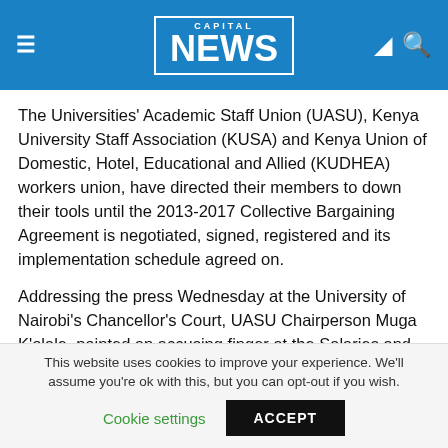CAPITAL NEWS
The Universities' Academic Staff Union (UASU), Kenya University Staff Association (KUSA) and Kenya Union of Domestic, Hotel, Educational and Allied (KUDHEA) workers union, have directed their members to down their tools until the 2013-2017 Collective Bargaining Agreement is negotiated, signed, registered and its implementation schedule agreed on.
Addressing the press Wednesday at the University of Nairobi's Chancellor's Court, UASU Chairperson Muga K'olale, pointed an accusing finger at the Salaries and Remuneration Commission (SRC) and the Ministry of
This website uses cookies to improve your experience. We'll assume you're ok with this, but you can opt-out if you wish.
Cookie settings    ACCEPT